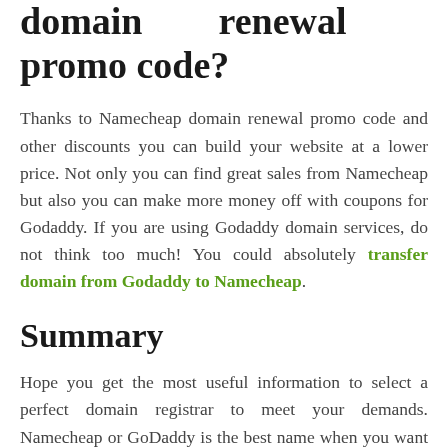domain renewal promo code?
Thanks to Namecheap domain renewal promo code and other discounts you can build your website at a lower price. Not only you can find great sales from Namecheap but also you can make more money off with coupons for Godaddy. If you are using Godaddy domain services, do not think too much! You could absolutely transfer domain from Godaddy to Namecheap.
Summary
Hope you get the most useful information to select a perfect domain registrar to meet your demands. Namecheap or GoDaddy is the best name when you want to register a domain name. Save